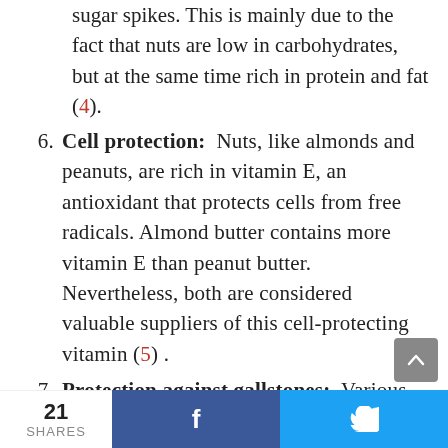(continuation) sugar spikes. This is mainly due to the fact that nuts are low in carbohydrates, but at the same time rich in protein and fat (4).
6. Cell protection: Nuts, like almonds and peanuts, are rich in vitamin E, an antioxidant that protects cells from free radicals. Almond butter contains more vitamin E than peanut butter. Nevertheless, both are considered valuable suppliers of this cell-protecting vitamin (5).
7. Protection against gallstones: Various studies show that regular consumption
21 SHARES  f  (twitter bird)